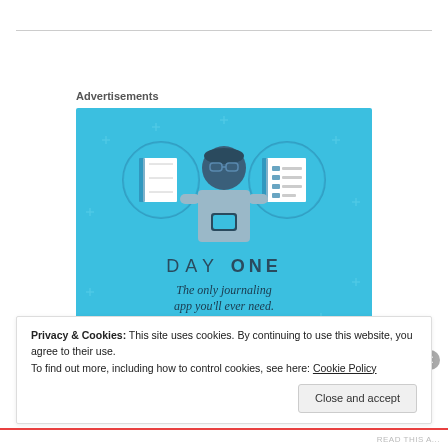Advertisements
[Figure (illustration): Day One journaling app advertisement banner with blue background showing a person holding a phone, flanked by two notebook icons in circles, with text 'DAY ONE - The only journaling app you'll ever need.']
Privacy & Cookies: This site uses cookies. By continuing to use this website, you agree to their use.
To find out more, including how to control cookies, see here: Cookie Policy
Close and accept